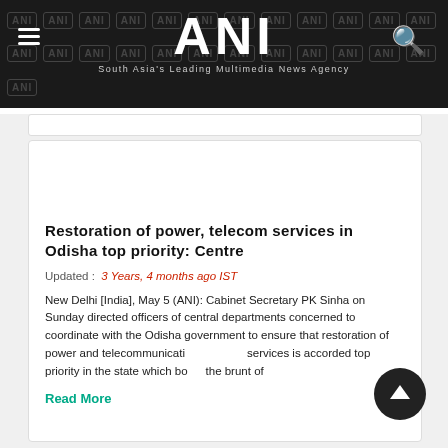ANI — South Asia's Leading Multimedia News Agency
Restoration of power, telecom services in Odisha top priority: Centre
Updated :  3 Years, 4 months ago IST
New Delhi [India], May 5 (ANI): Cabinet Secretary PK Sinha on Sunday directed officers of central departments concerned to coordinate with the Odisha government to ensure that restoration of power and telecommunication services is accorded top priority in the state which bore the brunt of
Read More